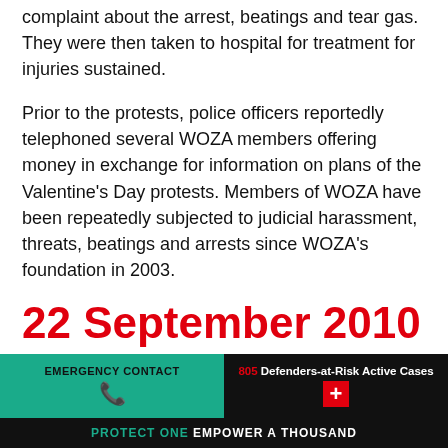complaint about the arrest, beatings and tear gas. They were then taken to hospital for treatment for injuries sustained.
Prior to the protests, police officers reportedly telephoned several WOZA members offering money in exchange for information on plans of the Valentine's Day protests. Members of WOZA have been repeatedly subjected to judicial harassment, threats, beatings and arrests since WOZA's foundation in 2003.
22 September 2010
Human rights defender Ms
EMERGENCY CONTACT | 805 Defenders-at-Risk Active Cases | PROTECT ONE EMPOWER A THOUSAND